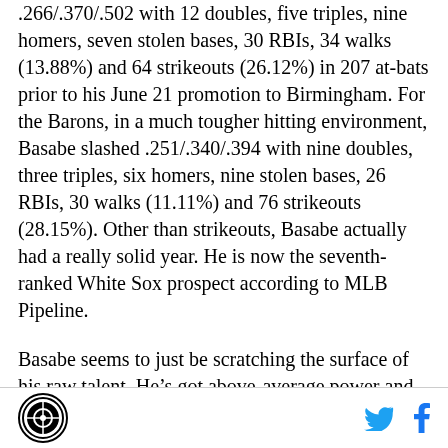.266/.370/.502 with 12 doubles, five triples, nine homers, seven stolen bases, 30 RBIs, 34 walks (13.88%) and 64 strikeouts (26.12%) in 207 at-bats prior to his June 21 promotion to Birmingham. For the Barons, in a much tougher hitting environment, Basabe slashed .251/.340/.394 with nine doubles, three triples, six homers, nine stolen bases, 26 RBIs, 30 walks (11.11%) and 76 strikeouts (28.15%). Other than strikeouts, Basabe actually had a really solid year. He is now the seventh-ranked White Sox prospect according to MLB Pipeline.
Basabe seems to just be scratching the surface of his raw talent. He’s got above-average power and
[logo] [twitter] [facebook]